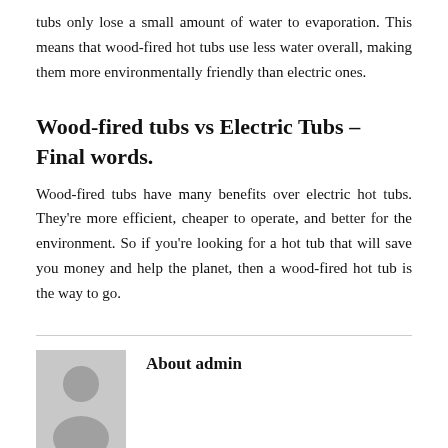tubs only lose a small amount of water to evaporation. This means that wood-fired hot tubs use less water overall, making them more environmentally friendly than electric ones.
Wood-fired tubs vs Electric Tubs – Final words.
Wood-fired tubs have many benefits over electric hot tubs. They're more efficient, cheaper to operate, and better for the environment. So if you're looking for a hot tub that will save you money and help the planet, then a wood-fired hot tub is the way to go.
About admin